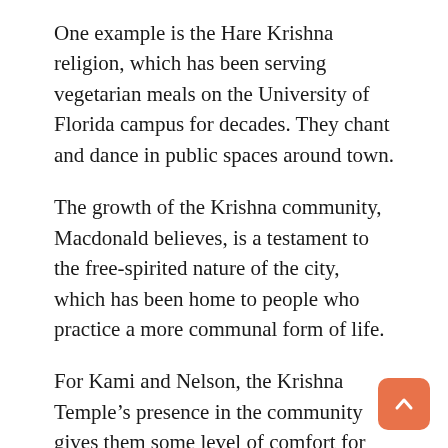One example is the Hare Krishna religion, which has been serving vegetarian meals on the University of Florida campus for decades. They chant and dance in public spaces around town.
The growth of the Krishna community, Macdonald believes, is a testament to the free-spirited nature of the city, which has been home to people who practice a more communal form of life.
For Kami and Nelson, the Krishna Temple’s presence in the community gives them some level of comfort for having a non-traditional way of life, even on the fringes of Alachua County.
The couple live in conservative territory. They are a 30-minute drive from the progressive bubble that college students inhabit, and are sometimes concerned their neighbors would judge them if they knew about their Wiccan traditions. They don’t want to ruffle any feathers and know that their practices make some people uncomfortable before they understand.